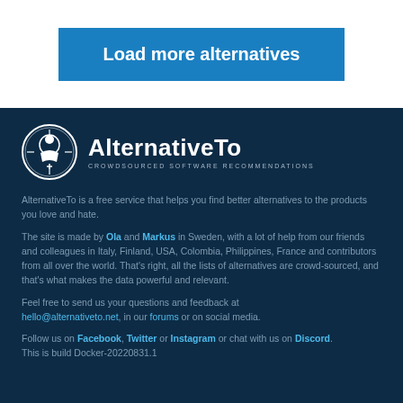Load more alternatives
[Figure (logo): AlternativeTo logo — circular emblem with lighthouse/figure icon, text 'AlternativeTo' bold, subtitle 'CROWDSOURCED SOFTWARE RECOMMENDATIONS']
AlternativeTo is a free service that helps you find better alternatives to the products you love and hate.
The site is made by Ola and Markus in Sweden, with a lot of help from our friends and colleagues in Italy, Finland, USA, Colombia, Philippines, France and contributors from all over the world. That's right, all the lists of alternatives are crowd-sourced, and that's what makes the data powerful and relevant.
Feel free to send us your questions and feedback at hello@alternativeto.net, in our forums or on social media.
Follow us on Facebook, Twitter or Instagram or chat with us on Discord. This is build Docker-20220831.1